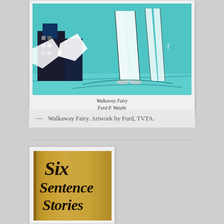[Figure (illustration): Walkaway Fairy artwork by Ford P. Waight — a teal/turquoise background with collaged figures of a person walking and buildings on the left side.]
Walkaway Fairy
Ford P. Waight
— Walkaway Fairy. Artwork by Ford, TVTA.
[Figure (photo): Book cover of 'Six Sentence Stories' with aged parchment-colored background and ornate black lettering.]